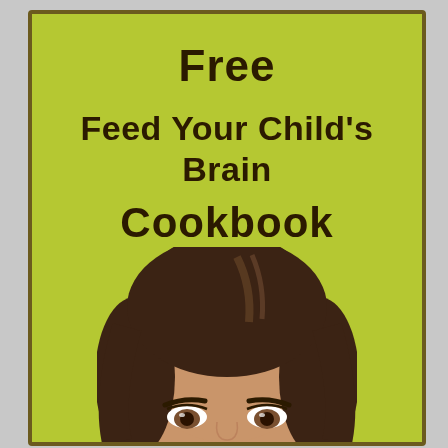Free
Feed Your Child's Brain
Cookbook
[Figure (photo): A woman's face with long dark brown hair, looking upward, shown from the top of the head to just below the eyes, positioned at the bottom center of the book cover.]